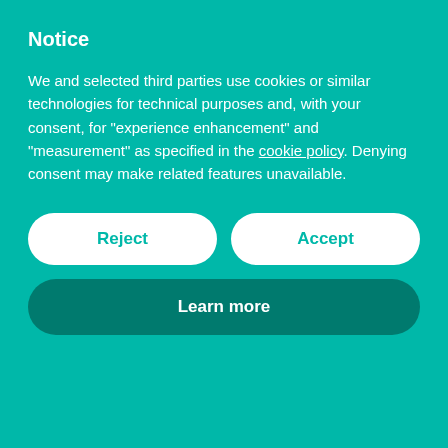Notice
We and selected third parties use cookies or similar technologies for technical purposes and, with your consent, for “experience enhancement” and “measurement” as specified in the cookie policy. Denying consent may make related features unavailable.
Reject
Accept
Learn more
the help of the Netara (Beings of Angelic Beings).
The unification of Upper and Lower Egypt occurred in about 3000 BC, but the pschent - or double crown, see Wikipedia image on the left - worn by the Pharoahs represented the combined regalia of both areas; the hedjet or White Crown for Upper Egypt and